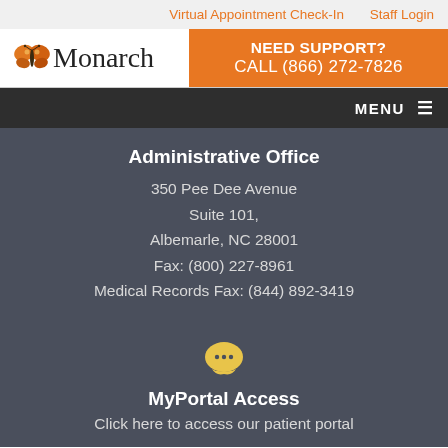Virtual Appointment Check-In    Staff Login
[Figure (logo): Monarch logo with butterfly icon and text 'Monarch']
NEED SUPPORT? CALL (866) 272-7826
MENU
Administrative Office
350 Pee Dee Avenue
Suite 101,
Albemarle, NC 28001
Fax: (800) 227-8961
Medical Records Fax: (844) 892-3419
[Figure (illustration): Yellow speech bubble icon with ellipsis dots]
MyPortal Access
Click here to access our patient portal